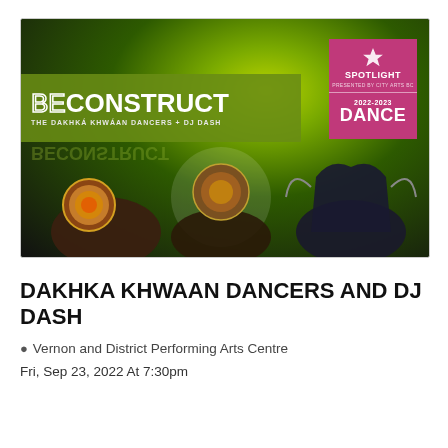[Figure (photo): Promotional image for BECONSTRUCT show featuring The Dakhka Khwáan Dancers + DJ Dash. Dark stage with green lighting, performers in traditional regalia with drums. Green banner overlay with 'BECONSTRUCT' text. Pink box in top right with '25 SPOTLIGHT' branding, '2022-2023 DANCE' label.]
DAKHKA KHWAAN DANCERS AND DJ DASH
Vernon and District Performing Arts Centre
Fri, Sep 23, 2022 At 7:30pm